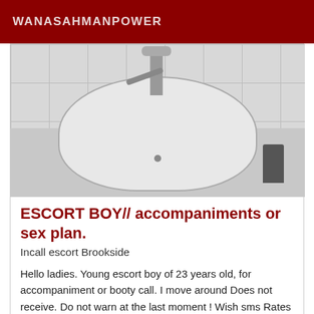WANASAHMANPOWER
[Figure (photo): Black and white photo of a bathroom sink with wall tiles, a faucet, and fixtures]
ESCORT BOY// accompaniments or sex plan.
Incall escort Brookside
Hello ladies. Young escort boy of 23 years old, for accompaniment or booty call. I move around Does not receive. Do not warn at the last moment ! Wish sms Rates to see between us
[Figure (photo): Partial black and white photo, bottom of page, appears to show a body or fabric]